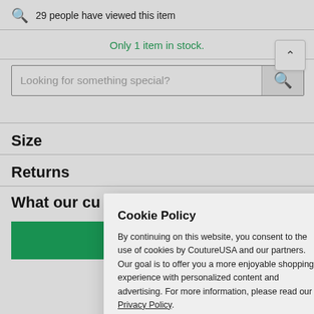29 people have viewed this item
Only 1 item in stock.
Looking for something special?
Size
Returns
What our cu
Cookie Policy
By continuing on this website, you consent to the use of cookies by CoutureUSA and our partners. Our goal is to offer you a more enjoyable shopping experience with personalized content and advertising. For more information, please read our Privacy Policy.